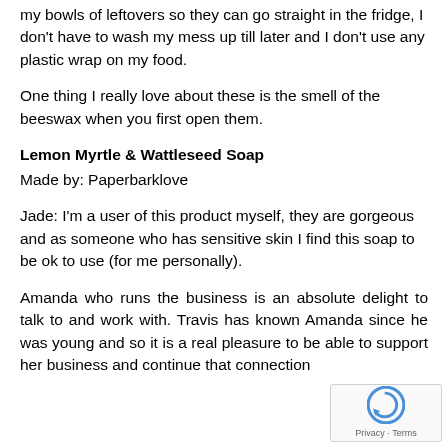my bowls of leftovers so they can go straight in the fridge, I don't have to wash my mess up till later and I don't use any plastic wrap on my food.
One thing I really love about these is the smell of the beeswax when you first open them.
Lemon Myrtle & Wattleseed Soap
Made by: Paperbarklove
Jade: I'm a user of this product myself, they are gorgeous and as someone who has sensitive skin I find this soap to be ok to use (for me personally).
Amanda who runs the business is an absolute delight to talk to and work with. Travis has known Amanda since he was young and so it is a real pleasure to be able to support her business and continue that connection